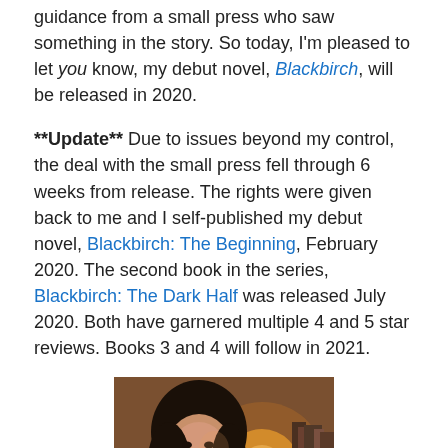guidance from a small press who saw something in the story. So today, I'm pleased to let you know, my debut novel, Blackbirch, will be released in 2020.
**Update** Due to issues beyond my control, the deal with the small press fell through 6 weeks from release. The rights were given back to me and I self-published my debut novel, Blackbirch: The Beginning, February 2020. The second book in the series, Blackbirch: The Dark Half was released July 2020. Both have garnered multiple 4 and 5 star reviews. Books 3 and 4 will follow in 2021.
[Figure (photo): A young woman with dark hair smiling, sitting near a glowing lamp with books in the background.]